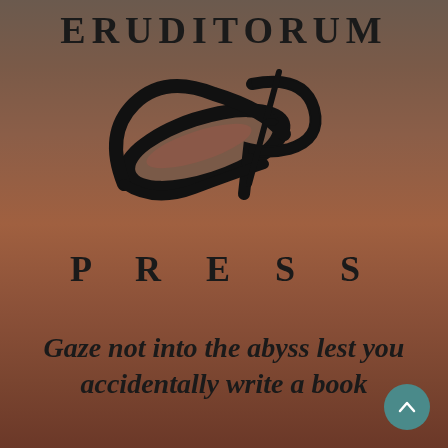ERUDITORUM
[Figure (logo): Eruditorum Press stylized cursive logo mark — black calligraphic quill/pen swoosh forming the letters EP]
P R E S S
Gaze not into the abyss lest you accidentally write a book